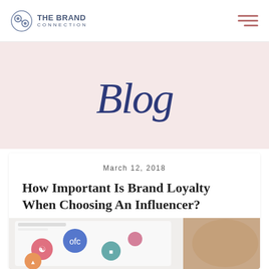THE BRAND CONNECTION
[Figure (logo): The Brand Connection logo with circular chain link icon and text 'THE BRAND CONNECTION']
Blog
March 12, 2018
How Important Is Brand Loyalty When Choosing An Influencer?
[Figure (photo): Tablet displaying social media icons and apps on screen, resting on a wooden surface]